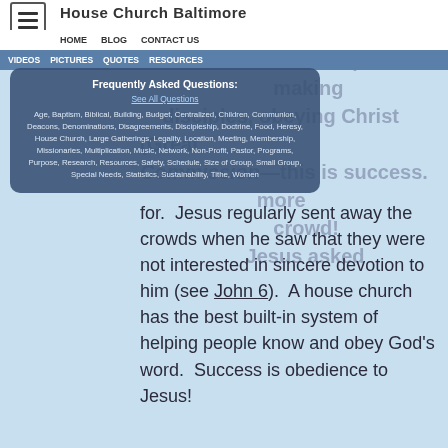House Church Baltimore
HOME  BLOG  CONTACT US  VIDEOS  PICTURES  QUOTES  RESOURCES
[Figure (screenshot): Dropdown menu overlay showing 'Frequently Asked Questions' with a list of category tags including Age, Baptism, Biblical, Building, Budget, Centralized, Children, Communion, Deacons, Denominations, Disagreements, Discipleship, Doctrine, Food, Heresy, House Church, Large Gatherings, Legality, Location, Meeting, Membership, Missionaries, Multiplication, Music, Network, Non-Profit, Pastor, Programs, Purpose, Research, Resources, Safety, Schedule, Size of Group, Small Group, Special Needs, Statistics, Sustainability, Tithe, Women.]
demonstrating genuine and vibrant love to those around them (Golden Rule), making disciples, obeying Christ (Great Commission)—this is success. Jesus never once asked for a crowd!  Jesus regularly sent away the crowds when he saw that they were not interested in sincere devotion to him (see John 6).  A house church has the best built-in system of helping people know and obey God's word.  Success is obedience to Jesus!